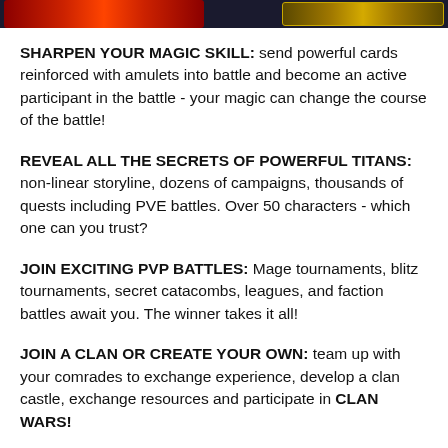[Figure (illustration): Dark banner with red decorative graphic on the left and gold/bronze decorative graphic on the right]
SHARPEN YOUR MAGIC SKILL: send powerful cards reinforced with amulets into battle and become an active participant in the battle - your magic can change the course of the battle!
REVEAL ALL THE SECRETS OF POWERFUL TITANS: non-linear storyline, dozens of campaigns, thousands of quests including PVE battles. Over 50 characters - which one can you trust?
JOIN EXCITING PVP BATTLES: Mage tournaments, blitz tournaments, secret catacombs, leagues, and faction battles await you. The winner takes it all!
JOIN A CLAN OR CREATE YOUR OWN: team up with your comrades to exchange experience, develop a clan castle, exchange resources and participate in CLAN WARS!